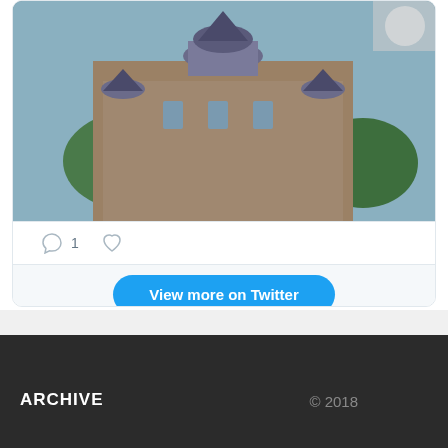[Figure (photo): Photograph of a historic courthouse or government building with ornate Victorian architecture, domed roof with spires, and trees in the foreground]
1
View more on Twitter
Learn more about privacy on Twitter
ARCHIVE   © 2018